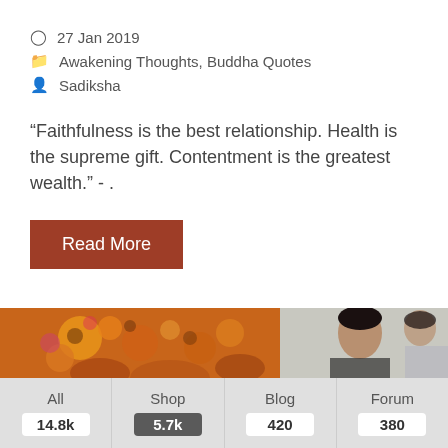27 Jan 2019
Awakening Thoughts, Buddha Quotes
Sadiksha
“Faithfulness is the best relationship. Health is the supreme gift. Contentment is the greatest wealth.” - .
Read More
[Figure (photo): Photo showing a colorful tattoo on someone's back, and a person in the background]
All 14.8k | Shop 5.7k | Blog 420 | Forum 380